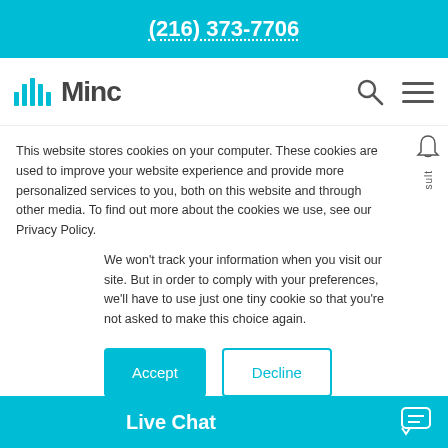(216) 373-7706
[Figure (logo): Minc Law logo with teal bar graph icon and bold 'Minc' text]
them is increasingly essential to protecting your business's reputation online.
Business owners can follow these six tips to...
This website stores cookies on your computer. These cookies are used to improve your website experience and provide more personalized services to you, both on this website and through other media. To find out more about the cookies we use, see our Privacy Policy.
We won't track your information when you visit our site. But in order to comply with your preferences, we'll have to use just one tiny cookie so that you're not asked to make this choice again.
Accept / Decline buttons
Look at the ti...
Analyze the r...
Live Chat